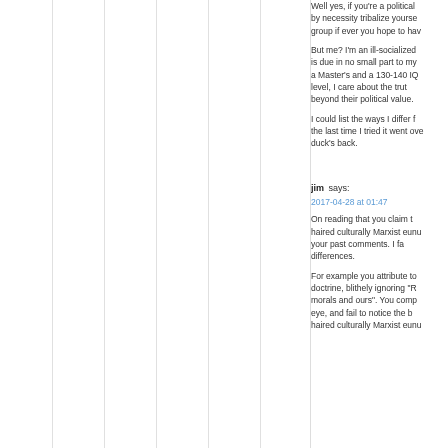Well yes, if you're a political actor you must by necessity tribalize yourself within the group if ever you hope to hav...
But me? I'm an ill-socialized... is due in no small part to my a Master's and a 130-140 IQ level, I care about the truth beyond their political value.
I could list the ways I differ f... the last time I tried it went ove... duck's back.
jim says:
2017-04-28 at 01:47
On reading that you claim t... haired culturally Marxist eunu... your past comments. I fa... differences.
For example you attribute to... doctrine, blithely ignoring "R... morals and ours". You comp... eye, and fail to notice the b... haired culturally Marxist eunu...